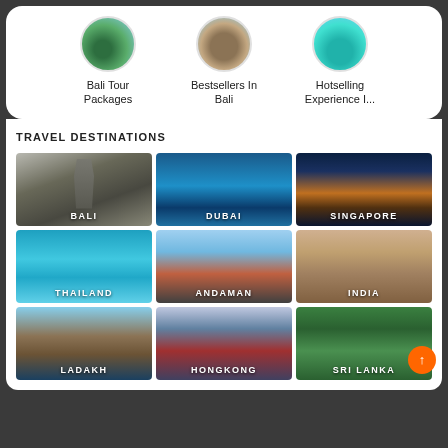[Figure (other): Three circular category icons: Bali Tour Packages, Bestsellers In Bali, Hotselling Experience I...]
Bali Tour Packages
Bestsellers In Bali
Hotselling Experience I...
TRAVEL DESTINATIONS
[Figure (photo): Grid of 9 travel destination images: BALI, DUBAI, SINGAPORE, THAILAND, ANDAMAN, INDIA, LADAKH, HONGKONG, SRI LANKA]